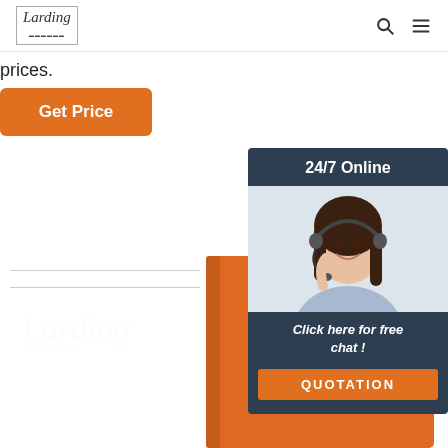Larding [logo] | search icon | menu icon
prices.
Get Price
[Figure (screenshot): Orange notebook/binder with white tabs on the right side]
[Figure (infographic): 24/7 Online chat widget with photo of a smiling woman wearing a headset, text 'Click here for free chat!', and an orange QUOTATION button]